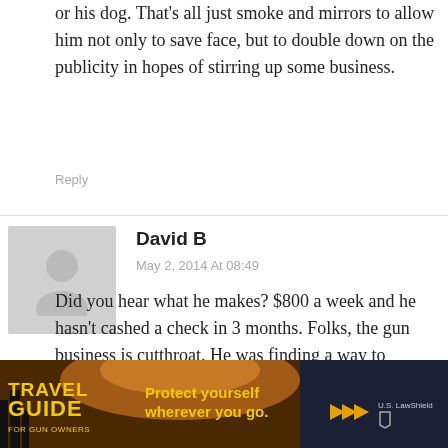or his dog. That's all just smoke and mirrors to allow him not only to save face, but to double down on the publicity in hopes of stirring up some business.
Reply
David B
May 2, 2014 At 08:49
Did you hear what he makes? $800 a week and he hasn't cashed a check in 3 months. Folks, the gun business is cutthroat. He was finding a way to diversify and expand his customer base (much like it was suggested the NRA should do). Don't punish him for NJ's laws. Makes you appreciate the crap Firearm Concierge puts up with, doesn't it? I do take issue with his strong suggestion that we
[Figure (photo): Advertisement banner: Travel Guide for Gun Owners - Protect yourself wherever you go. US LawShield]
's drinking